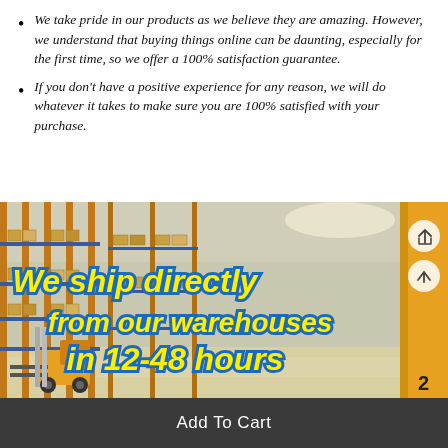We take pride in our products as we believe they are amazing. However, we understand that buying things online can be daunting, especially for the first time, so we offer a 100% satisfaction guarantee.
If you don't have a positive experience for any reason, we will do whatever it takes to make sure you are 100% satisfied with your purchase.
[Figure (photo): Warehouse interior with tall shelving racks loaded with pallets. Overlaid text reads: 'We ship directly from our warehouses in 12-48 hours' in bold yellow italic text with blue outline. A forklift is visible in the foreground. Navigation/share icons are visible on the right edge.]
Add To Cart